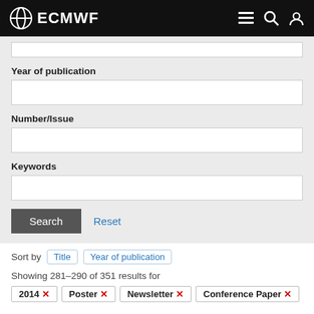ECMWF
Year of publication
Number/Issue
Keywords
Search   Reset
Sort by   Title   Year of publication
Showing 281–290 of 351 results for
2014 ×   Poster ×   Newsletter ×   Conference Paper ×